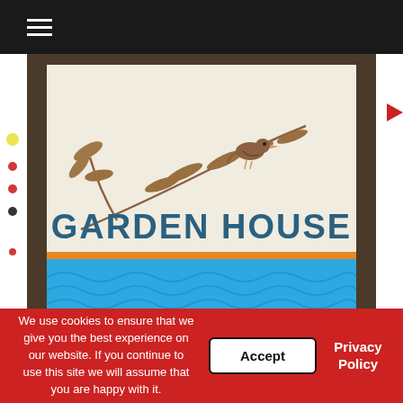≡ (hamburger menu)
[Figure (photo): Sign reading 'GARDEN HOUSE' with bird and bamboo branch illustration on cream background, blue wave pattern at bottom, framed in dark wood]
Featured
Food
Disney Destinations- Garden House
We use cookies to ensure that we give you the best experience on our website. If you continue to use this site we will assume that you are happy with it.
Accept
Privacy Policy